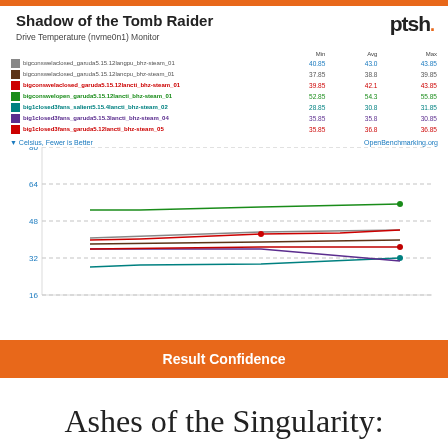Shadow of the Tomb Raider
Drive Temperature (nvme0n1) Monitor
[Figure (line-chart): Shadow of the Tomb Raider - Drive Temperature (nvme0n1) Monitor]
Result Confidence
Ashes of the Singularity: